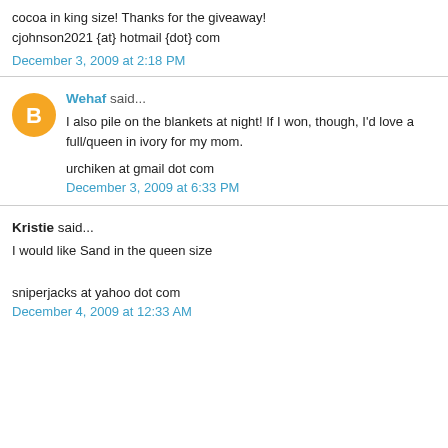cocoa in king size! Thanks for the giveaway!
cjohnson2021 {at} hotmail {dot} com
December 3, 2009 at 2:18 PM
Wehaf said...
I also pile on the blankets at night! If I won, though, I'd love a full/queen in ivory for my mom.
urchiken at gmail dot com
December 3, 2009 at 6:33 PM
Kristie said...
I would like Sand in the queen size
sniperjacks at yahoo dot com
December 4, 2009 at 12:33 AM